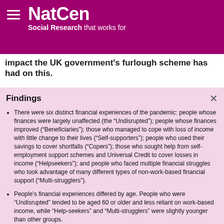NatCen Social Research that works for
impact the UK government's furlough scheme has had on this.
Findings
There were six distinct financial experiences of the pandemic: people whose finances were largely unaffected (the “Undisrupted”); people whose finances improved (“Beneficiaries”); those who managed to cope with loss of income with little change to their lives (“Self-supporters”); people who used their savings to cover shortfalls (“Copers”); those who sought help from self-employment support schemes and Universal Credit to cover losses in income (“Helpseekers”); and people who faced multiple financial struggles who took advantage of many different types of non-work-based financial support (“Multi-strugglers”).
People’s financial experiences differed by age. People who were “Undisrupted” tended to be aged 60 or older and less reliant on work-based income, while “Help-seekers” and “Multi-strugglers” were slightly younger than other groups.
People from Black, Asian and Minority Ethnic backgrounds were twice as likely as White people to be “Help-seekers” who accessed new forms of financial help to cover their income losses.
“Multi-strugglers” had the highest levels of mental distress before the pandemic began (39%). Following the onset of the pandemic in April 2020, this increased further to 54% before returning to prepandemic levels in January 2021.